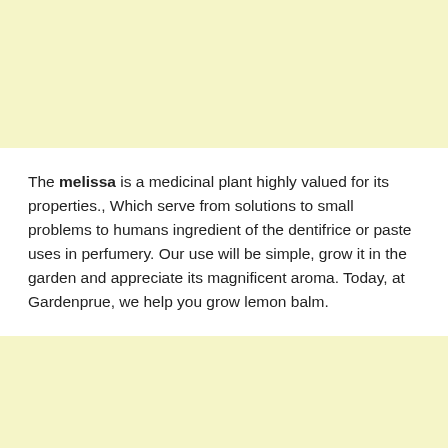The melissa is a medicinal plant highly valued for its properties., Which serve from solutions to small problems to humans ingredient of the dentifrice or paste uses in perfumery. Our use will be simple, grow it in the garden and appreciate its magnificent aroma. Today, at Gardenprue, we help you grow lemon balm.